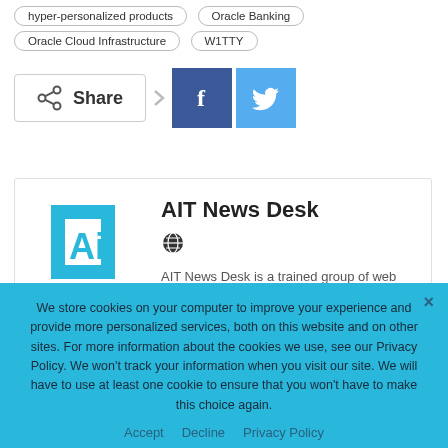hyper-personalized products
Oracle Banking
Oracle Cloud Infrastructure
W1TTY
[Figure (infographic): Share button with Facebook and Twitter icons]
[Figure (logo): AIT Newsdesk logo - blue bracket-style AI logo with text Newsdesk below]
AIT News Desk
AIT News Desk is a trained group of web journalists and reporters who collect news
We store cookies on your computer to improve your experience and provide more personalized services, both on this website and on other sites. For more information about the cookies we use, see our Privacy Policy. We won't track your information when you visit our site. We will have to use at least one cookie to ensure that you won't have to make this choice again.
Accept   Decline   Privacy Policy